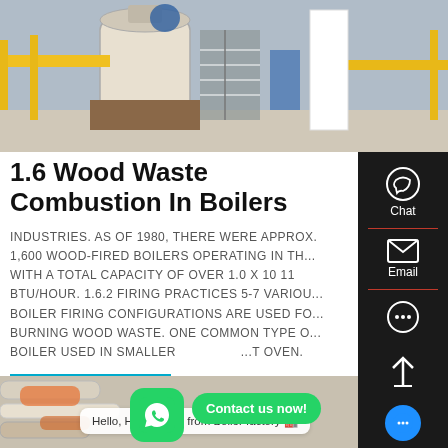[Figure (photo): Industrial boiler manufacturing facility with yellow pipes, metal structures, stairs, and large industrial boilers visible]
1.6 Wood Waste Combustion In Boilers
INDUSTRIES. AS OF 1980, THERE WERE APPROX. 1,600 WOOD-FIRED BOILERS OPERATING IN TH... WITH A TOTAL CAPACITY OF OVER 1.0 X 10 11 BTU/HOUR. 1.6.2 FIRING PRACTICES 5-7 VARIOU... BOILER FIRING CONFIGURATIONS ARE USED FO... BURNING WOOD WASTE. ONE COMMON TYPE O... BOILER USED IN SMALLER ...T OVEN.
[Figure (photo): Close-up of industrial pipes and boiler components, with a chat bubble overlay saying Hello, Helen here, from Boiler factory]